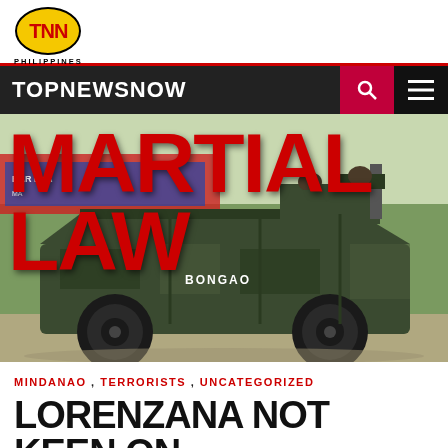[Figure (logo): TNN Philippines logo — yellow oval with red TNN text, PHILIPPINES label below]
TOPNEWSNOW
[Figure (photo): Photo of a military armored vehicle labeled BONGAO with soldiers on top, with red overlaid text reading MARTIAL LAW]
MINDANAO , TERRORISTS , UNCATEGORIZED
LORENZANA NOT KEEN ON